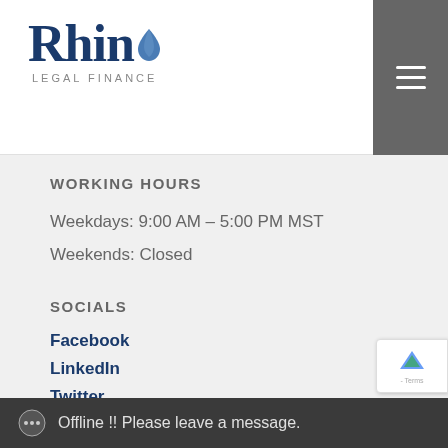[Figure (logo): Rhino Legal Finance logo with blue wordmark and water drop icon, with subtitle LEGAL FINANCE]
WORKING HOURS
Weekdays: 9:00 AM – 5:00 PM MST
Weekends: Closed
SOCIALS
Facebook
LinkedIn
Twitter
Offline !! Please leave a message.